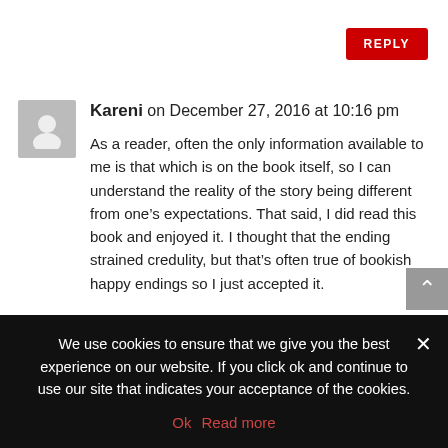REPLY
Kareni on December 27, 2016 at 10:16 pm
As a reader, often the only information available to me is that which is on the book itself, so I can understand the reality of the story being different from one’s expectations. That said, I did read this book and enjoyed it. I thought that the ending strained credulity, but that’s often true of bookish happy endings so I just accepted it.
Thanks for your review, Kenna.
★ Like
We use cookies to ensure that we give you the best experience on our website. If you click ok and continue to use our site that indicates your acceptance of the cookies.
Ok   Read more